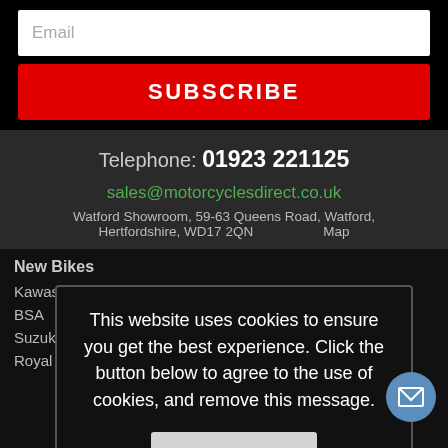Email
SUBSCRIBE
Telephone: 01923 221125
sales@motorcyclesdirect.co.uk
Watford Showroom, 59-63 Queens Road, Watford,
Hertfordshire, WD17 2QN    Map
New Bikes
Kawasaki
BSA
Suzuki
Royal Enfield
This website uses cookies to ensure you get the best experience. Click the button below to agree to the use of cookies, and remove this message.
I agree